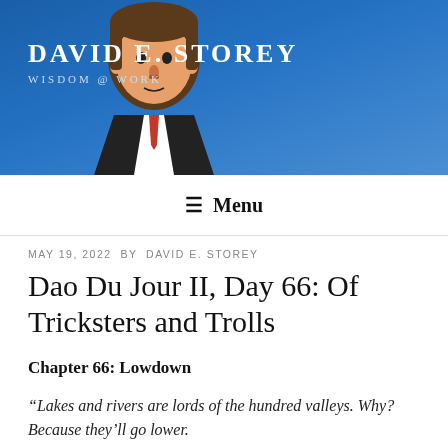[Figure (illustration): Website header banner with blue gradient background, cartoon illustration of a man in a suit, site title 'DAVID E. STOREY' and tagline 'WISDOM @ WORK']
≡ Menu
MAY 19, 2022 BY DAVID E. STOREY
Dao Du Jour II, Day 66: Of Tricksters and Trolls
Chapter 66: Lowdown
“Lakes and rivers are lords of the hundred valleys. Why? Because they’ll go lower.